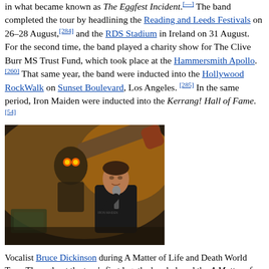in what became known as The Eggfest Incident.[—] The band completed the tour by headlining the Reading and Leeds Festivals on 26–28 August,[284] and the RDS Stadium in Ireland on 31 August. For the second time, the band played a charity show for The Clive Burr MS Trust Fund, which took place at the Hammersmith Apollo.[260] That same year, the band were inducted into the Hollywood RockWalk on Sunset Boulevard, Los Angeles.[285] In the same period, Iron Maiden were inducted into the Kerrang! Hall of Fame.[54]
[Figure (photo): Vocalist Bruce Dickinson performing on stage during A Matter of Life and Death World Tour, with a large prop cannon and an Eddie figure visible in the background.]
Vocalist Bruce Dickinson during A Matter of Life and Death World Tour. Throughout the tour's first leg, the band played the A Matter of Life and Death album in its entirety.